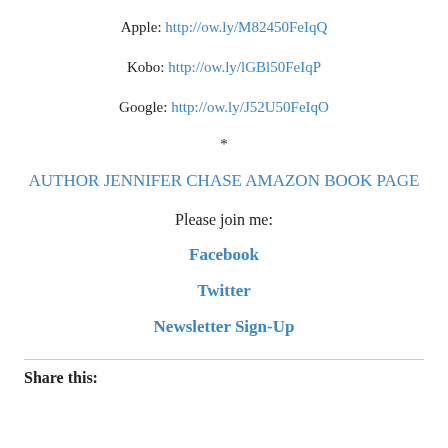Apple: http://ow.ly/M82450FeIqQ
Kobo: http://ow.ly/lGBl50FeIqP
Google: http://ow.ly/J52U50FeIqO
*
AUTHOR JENNIFER CHASE AMAZON BOOK PAGE
Please join me:
Facebook
Twitter
Newsletter Sign-Up
Share this: